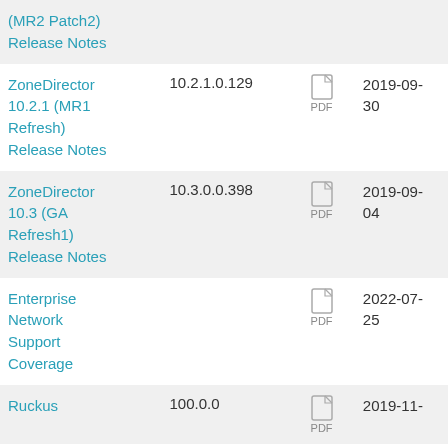| Name | Version | Type | Date |
| --- | --- | --- | --- |
| (MR2 Patch2) Release Notes |  | PDF |  |
| ZoneDirector 10.2.1 (MR1 Refresh) Release Notes | 10.2.1.0.129 | PDF | 2019-09-30 |
| ZoneDirector 10.3 (GA Refresh1) Release Notes | 10.3.0.0.398 | PDF | 2019-09-04 |
| Enterprise Network Support Coverage |  | PDF | 2022-07-25 |
| Ruckus | 100.0.0 | PDF | 2019-11- |